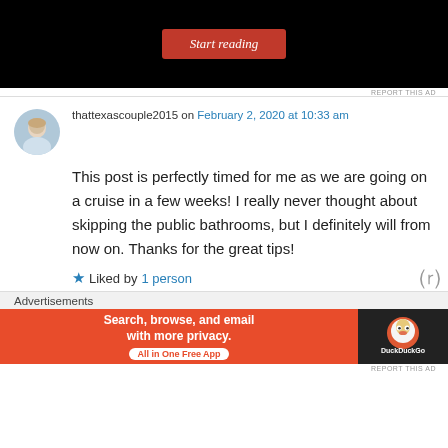[Figure (screenshot): Black advertisement banner with a red 'Start reading' button]
REPORT THIS AD
thattexascouple2015 on February 2, 2020 at 10:33 am
This post is perfectly timed for me as we are going on a cruise in a few weeks! I really never thought about skipping the public bathrooms, but I definitely will from now on. Thanks for the great tips!
Liked by 1 person
Advertisements
[Figure (screenshot): DuckDuckGo advertisement banner: 'Search, browse, and email with more privacy. All in One Free App']